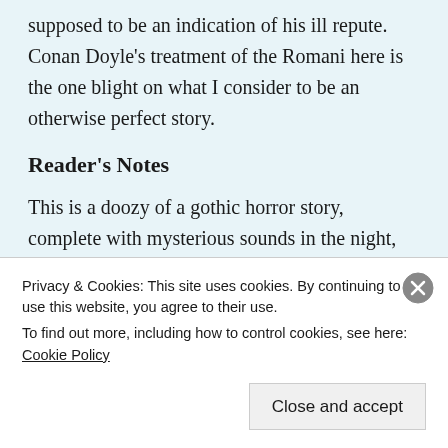supposed to be an indication of his ill repute. Conan Doyle's treatment of the Romani here is the one blight on what I consider to be an otherwise perfect story.
Reader's Notes
This is a doozy of a gothic horror story, complete with mysterious sounds in the night, fantastical wild beasts, mysterious poisons, and an evil villain rivaling any in literature. It is also a
Privacy & Cookies: This site uses cookies. By continuing to use this website, you agree to their use.
To find out more, including how to control cookies, see here: Cookie Policy
Close and accept